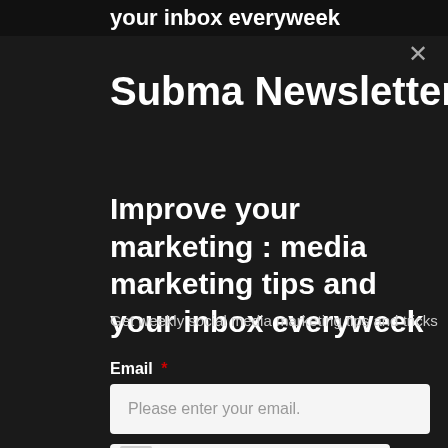your inbox everyweek
Subma Newsletter
Improve your marketing : media marketing tips and your inbox everyweek
Get weekly social media marketing tips and tricks + inte
Email *
Please enter your email.